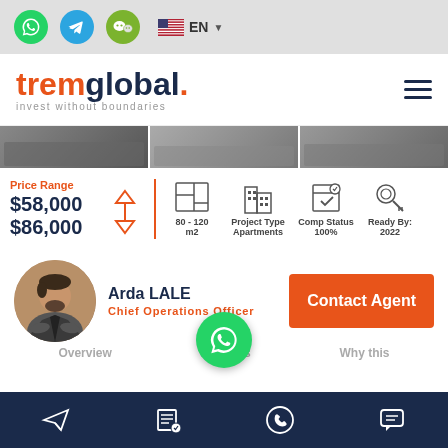[Figure (screenshot): Top bar with WhatsApp, Telegram, WeChat icons and EN language selector]
[Figure (logo): tremglobal. invest without boundaries logo with hamburger menu]
[Figure (photo): Property photo strip showing three building interior/exterior images]
Price Range
$58,000
$86,000
80 - 120 m2
Project Type Apartments
Comp Status 100%
Ready By: 2022
[Figure (photo): Agent photo of Arda LALE, Chief Operations Officer]
Arda LALE
Chief Operations Officer
Contact Agent
[Figure (other): WhatsApp floating button]
Overview
Features
Why this
[Figure (other): Bottom navigation bar with send, edit, phone, chat icons]